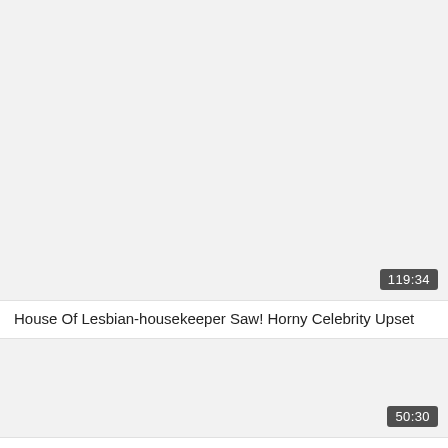[Figure (screenshot): Video thumbnail placeholder, light gray background with duration badge showing 119:34]
House Of Lesbian-housekeeper Saw! Horny Celebrity Upset
[Figure (screenshot): Video thumbnail placeholder, light gray background with duration badge showing 50:30]
Insane Lesbian adult video